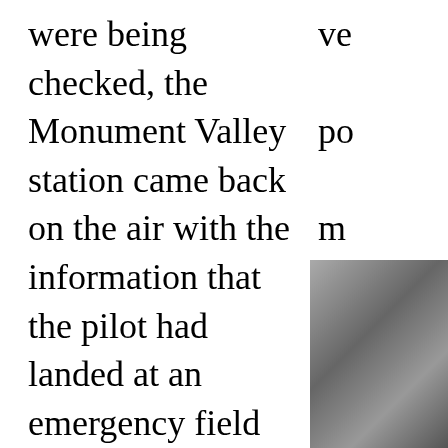were being checked, the Monument Valley station came back on the air with the information that the pilot had landed at an emergency field and walked over the desert to his destination. Plane and passengers were safe.
ve po m ar ha nu av
[Figure (photo): Partial photograph visible in the bottom-right corner of the page, showing a person or persons, mostly obscured.]